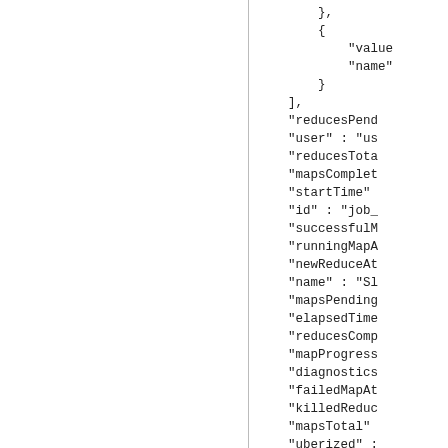},
{
    "value
    "name"
}
],
"reducesPend
"user" : "us
"reducesTota
"mapsComplet
"startTime"
"id" : "job_
"successfulM
"runningMapA
"newReduceAt
"name" : "Sl
"mapsPending
"elapsedTime
"reducesComp
"mapProgress
"diagnostics
"failedMapAt
"killedReduc
"mapsTotal"
"uberized" :
"killedMapAt
"finishTime"
}
]
}